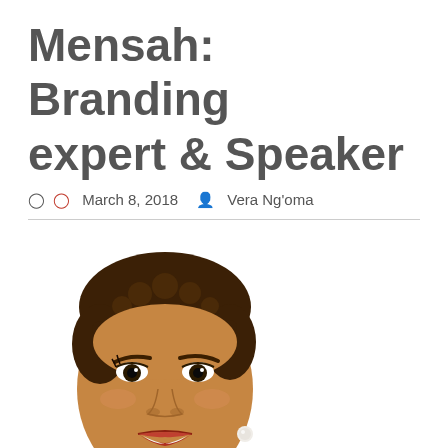Mensah: Branding expert & Speaker
March 8, 2018  Vera Ng'oma
[Figure (photo): Close-up portrait photo of a smiling woman with short natural hair and a pearl earring, cropped to show face and shoulders against a white background.]